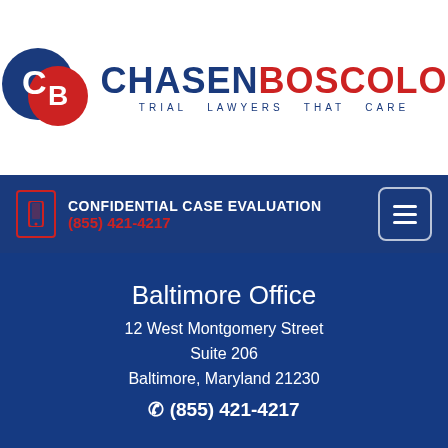[Figure (logo): Chasen Boscolo law firm logo: circular CB emblem in blue and red, with 'CHASEN' in dark blue bold and 'BOSCOLO' in red bold, tagline 'TRIAL LAWYERS THAT CARE' in blue spaced letters]
CONFIDENTIAL CASE EVALUATION
(855) 421-4217
Baltimore Office
12 West Montgomery Street
Suite 206
Baltimore, Maryland 21230
☎ (855) 421-4217
LIVE CHAT  START NOW